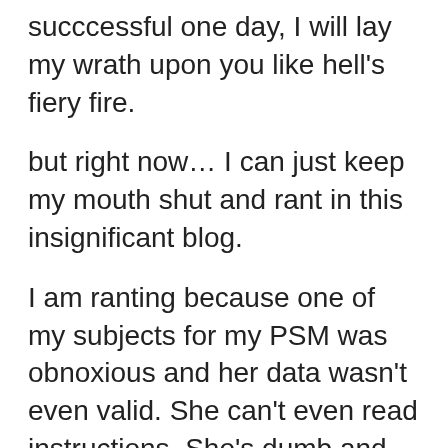succcessful one day, I will lay my wrath upon you like hell's fiery fire.
but right now… I can just keep my mouth shut and rant in this insignificant blog.
I am ranting because one of my subjects for my PSM was obnoxious and her data wasn't even valid. She can't even read instructions. She's dumb and she thinks she's soooooooo happening.
I should've known, you can't really expect much from uneducated rich bimbos. They're full of attitude ala Paris.